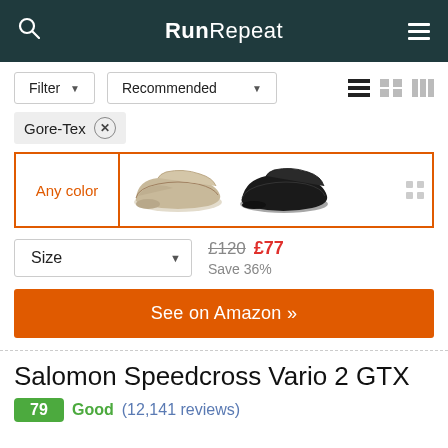RunRepeat
Filter ▾   Recommended ▾
Gore-Tex ×
[Figure (photo): Two shoes shown as color options: a beige/tan shoe and a black shoe]
Size ▾   £120  £77  Save 36%
See on Amazon »
Salomon Speedcross Vario 2 GTX
79  Good  (12,141 reviews)